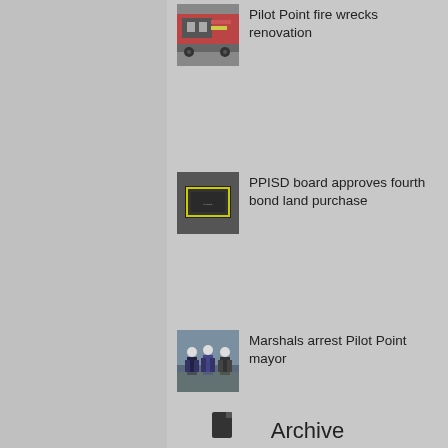[Figure (photo): Thumbnail image of a street scene with a bus, partially visible at top]
Pilot Point fire wrecks renovation
[Figure (photo): Thumbnail image showing a yellow-outlined display board or sign in a dark room]
PPISD board approves fourth bond land purchase
[Figure (photo): Thumbnail image of marshals or officers standing outdoors]
Marshals arrest Pilot Point mayor
Archive
[Figure (infographic): Social media share icons: Facebook (blue), Twitter (light blue), Google+ (red/orange)]
[Figure (illustration): Small document/file icon at bottom center]